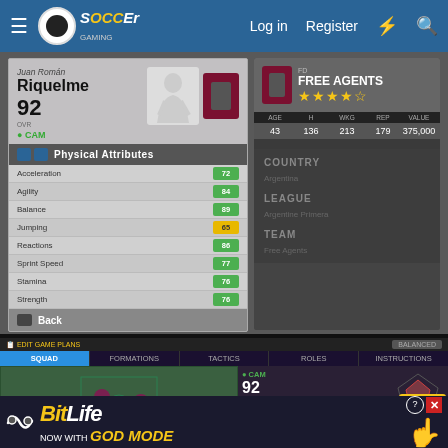Soccer Gaming — Log in | Register
[Figure (screenshot): FIFA/soccer game player card for Juan Román Riquelme, OVR 92, CAM, Physical Attributes panel showing: Acceleration 72, Agility 84, Balance 89, Jumping 65, Reactions 86, Sprint Speed 77, Stamina 76, Strength 76]
[Figure (screenshot): Right panel showing Free Agents club with 4 stars, stats row: 43, 136, 213, 179, 375,000. Filters for COUNTRY, LEAGUE, TEAM]
[Figure (screenshot): Bottom squad/formations screen showing field with players in positions, Riquelme highlighted as CAM 92, and player info panel with Close X button]
[Figure (screenshot): BitLife advertisement banner: NOW WITH GOD MODE]